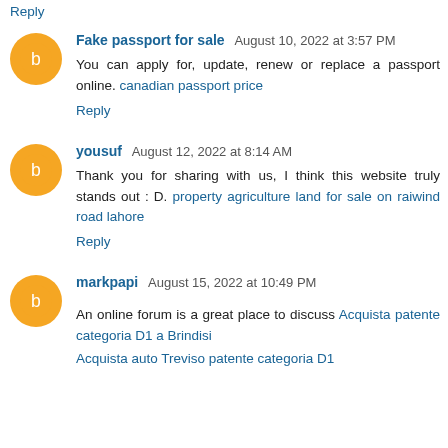Reply
Fake passport for sale  August 10, 2022 at 3:57 PM
You can apply for, update, renew or replace a passport online. canadian passport price
Reply
yousuf  August 12, 2022 at 8:14 AM
Thank you for sharing with us, I think this website truly stands out : D. property agriculture land for sale on raiwind road lahore
Reply
markpapi  August 15, 2022 at 10:49 PM
An online forum is a great place to discuss Acquista patente categoria D1 a Brindisi
Acquista auto Treviso patente categoria D1